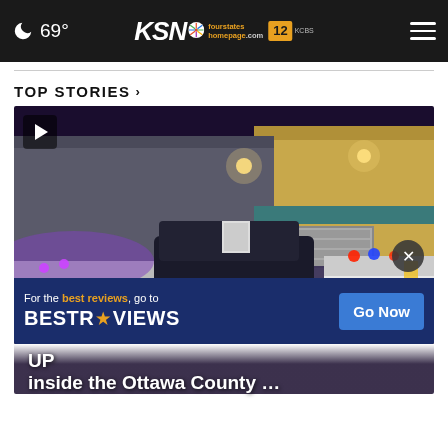69° KSN fourstates homepage.com 12
TOP STORIES ›
[Figure (photo): Night scene showing multiple Sheriff deputy vehicles with lights on outside a building. A DEPUTY SHERIFF vehicle and a SHERIFF vehicle are visible. An advertisement overlay reads 'For the best reviews, go to BESTREVIEWS Go Now'. A close button (x) is visible.]
UP... inside the Ottawa County...